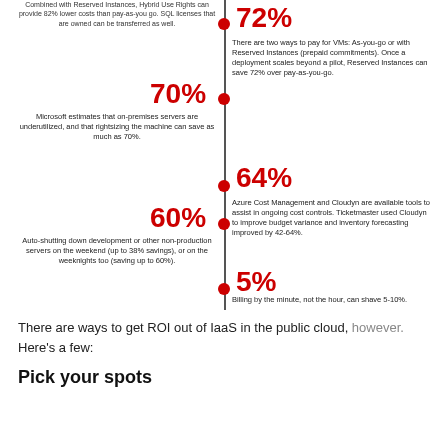[Figure (infographic): Vertical timeline infographic showing cost savings percentages (72%, 70%, 64%, 60%, 5%) with alternating left/right text descriptions about cloud cost savings strategies]
There are ways to get ROI out of IaaS in the public cloud, however. Here's a few:
Pick your spots